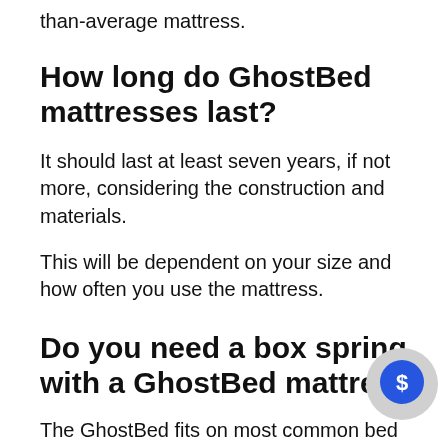than-average mattress.
How long do GhostBed mattresses last?
It should last at least seven years, if not more, considering the construction and materials.
This will be dependent on your size and how often you use the mattress.
Do you need a box spring with a GhostBed mattre…
The GhostBed fits on most common bed frame bases, including slatted, box spring…